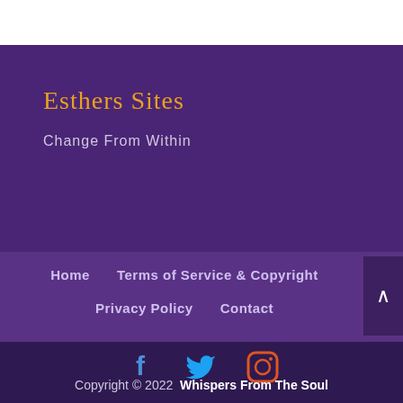Esthers Sites
Change From Within
Home
Terms of Service & Copyright
Privacy Policy
Contact
[Figure (illustration): Social media icons: Facebook (blue), Twitter (cyan), Instagram (orange/red)]
Copyright © 2022  Whispers From The Soul
Website developed by Theresa Kibler.